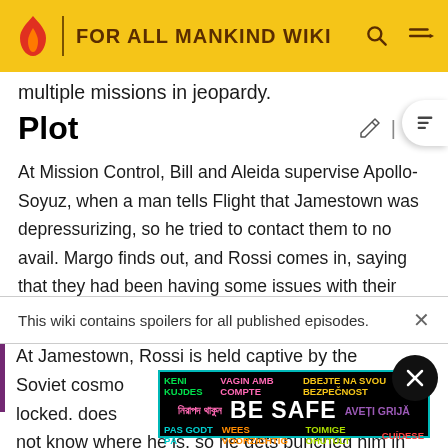FOR ALL MANKIND WIKI
multiple missions in jeopardy.
Plot
At Mission Control, Bill and Aleida supervise Apollo-Soyuz, when a man tells Flight that Jamestown was depressurizing, so he tried to contact them to no avail. Margo finds out, and Rossi comes in, saying that they had been having some issues with their sensors and pressure
This wiki contains spoilers for all published episodes.
At Jamestown, Rossi is held captive by the Soviet cosmo
locked.
does
not know where he is, so he gets punched him in the fa